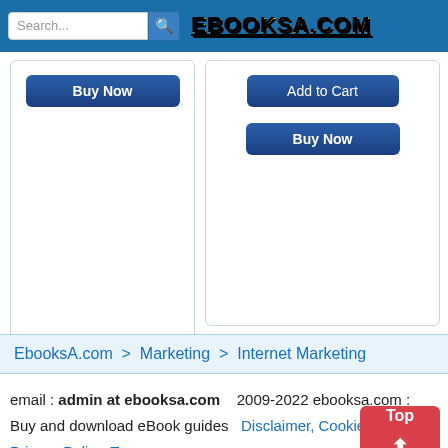Search... [search button] EBOOKSA.COM
[Figure (screenshot): Two product cards each with Buy Now and Add to Cart buttons on a white background]
EbooksA.com  >  Marketing  >  Internet Marketing
email : admin at ebooksa.com   2009-2022 ebooksa.com :
Buy and download eBook guides   Disclaimer, Cookies Policy
Privacy Policy, Terms